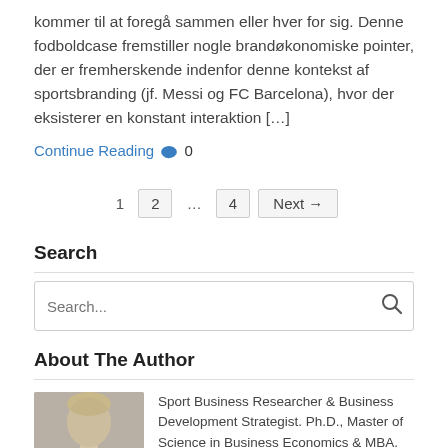kommer til at foregå sammen eller hver for sig. Denne fodboldcase fremstiller nogle brandøkonomiske pointer, der er fremherskende indenfor denne kontekst af sportsbranding (jf. Messi og FC Barcelona), hvor der eksisterer en konstant interaktion […]
Continue Reading 🗨 0
1  2  …  4  Next →
Search
Search...
About The Author
[Figure (photo): Author headshot photo - a person with light hair]
Sport Business Researcher & Business Development Strategist. Ph.D., Master of Science in Business Economics & MBA. Focus on sport economics, sport